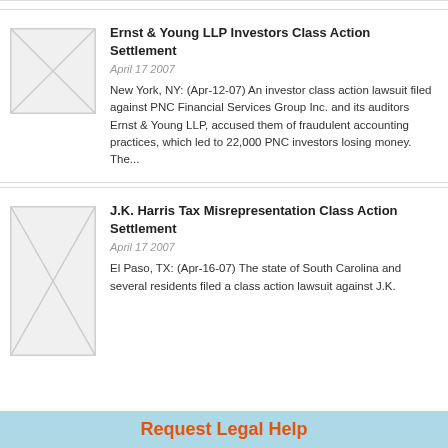[Figure (illustration): Placeholder image with diagonal cross lines indicating no image available]
Ernst & Young LLP Investors Class Action Settlement
April 17 2007
New York, NY: (Apr-12-07) An investor class action lawsuit filed against PNC Financial Services Group Inc. and its auditors Ernst & Young LLP, accused them of fraudulent accounting practices, which led to 22,000 PNC investors losing money. The...
[Figure (illustration): Placeholder image with diagonal cross lines indicating no image available]
J.K. Harris Tax Misrepresentation Class Action Settlement
April 17 2007
El Paso, TX: (Apr-16-07) The state of South Carolina and several residents filed a class action lawsuit against J.K. Harris...
Request Legal Help